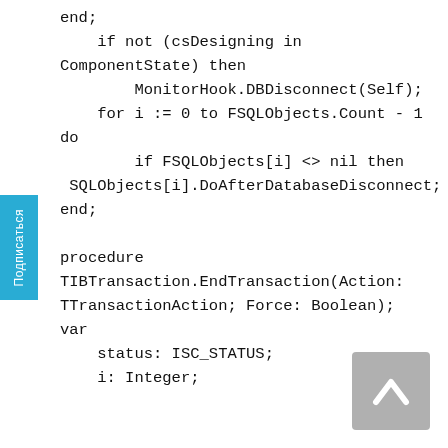end;
    if not (csDesigning in
ComponentState) then
        MonitorHook.DBDisconnect(Self);
    for i := 0 to FSQLObjects.Count - 1
do
        if FSQLObjects[i] <> nil then
 SQLObjects[i].DoAfterDatabaseDisconnect;
end;

procedure
TIBTransaction.EndTransaction(Action:
TTransactionAction; Force: Boolean);
var
    status: ISC_STATUS;
    i: Integer;